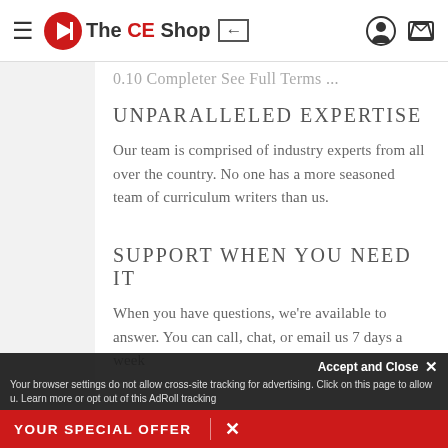The CE Shop
0.10 Completer See Full Terms ...
UNPARALLELED EXPERTISE
Our team is comprised of industry experts from all over the country. No one has a more seasoned team of curriculum writers than us.
SUPPORT WHEN YOU NEED IT
When you have questions, we're available to answer. You can call, chat, or email us 7 days a week
Accept and Close ×
Your browser settings do not allow cross-site tracking for advertising. Click on this page to allow u. Learn more or opt out of this AdRoll tracking
YOUR SPECIAL OFFER ×